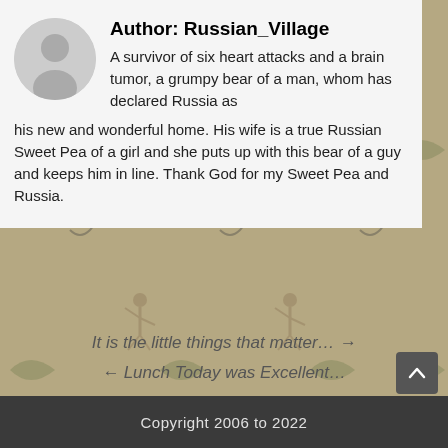Author: Russian_Village
A survivor of six heart attacks and a brain tumor, a grumpy bear of a man, whom has declared Russia as his new and wonderful home. His wife is a true Russian Sweet Pea of a girl and she puts up with this bear of a guy and keeps him in line. Thank God for my Sweet Pea and Russia.
It is the little things that matter… →
← Lunch Today was Excellent…
Copyright 2006 to 2022